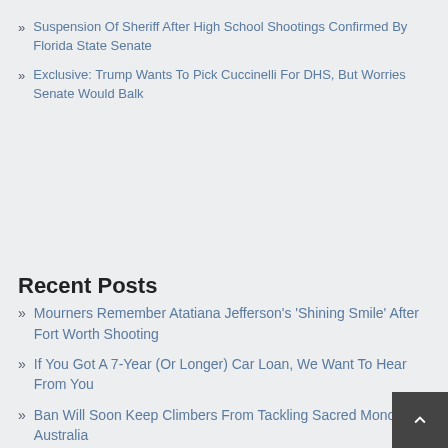Suspension Of Sheriff After High School Shootings Confirmed By Florida State Senate
Exclusive: Trump Wants To Pick Cuccinelli For DHS, But Worries Senate Would Balk
Recent Posts
Mourners Remember Atatiana Jefferson's 'Shining Smile' After Fort Worth Shooting
If You Got A 7-Year (Or Longer) Car Loan, We Want To Hear From You
Ban Will Soon Keep Climbers From Tackling Sacred Monolith In Australia
Suspension Of Sheriff After High School Shootings Confirmed By Florida State Senate
PG&E Imposes New Power Shutoffs In Parts Of Northern California To